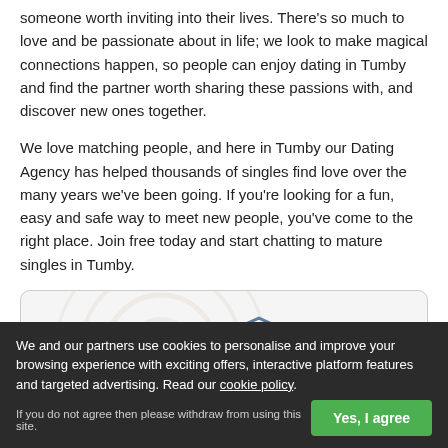someone worth inviting into their lives. There's so much to love and be passionate about in life; we look to make magical connections happen, so people can enjoy dating in Tumby and find the partner worth sharing these passions with, and discover new ones together.
We love matching people, and here in Tumby our Dating Agency has helped thousands of singles find love over the many years we've been going. If you're looking for a fun, easy and safe way to meet new people, you've come to the right place. Join free today and start chatting to mature singles in Tumby.
[Figure (logo): Protected By Online Dating Protector badge with shield logo and radio wave watermark]
Join Mature Lincolnshire Dating with total peace of mind that all personal details and communications will be kept private. Mature Lincolnshire Dating is
We and our partners use cookies to personalise and improve your browsing experience with exciting offers, interactive platform features and targeted advertising. Read our cookie policy.
If you do not agree then please withdraw from using this site.
Putting Your Safety First
All Profiles Checked and Moderated
Dating Safety Advice